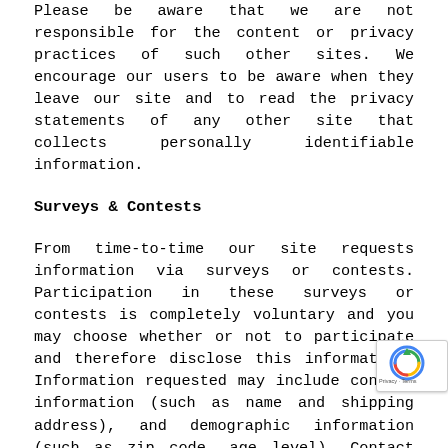Please be aware that we are not responsible for the content or privacy practices of such other sites. We encourage our users to be aware when they leave our site and to read the privacy statements of any other site that collects personally identifiable information.
Surveys & Contests
From time-to-time our site requests information via surveys or contests. Participation in these surveys or contests is completely voluntary and you may choose whether or not to participate and therefore disclose this information. Information requested may include contact information (such as name and shipping address), and demographic information (such as zip code, age level). Contact information will be used to notify the winners and award prizes. Such information will be used for purposes of monitoring or improving the use and satisfaction of this site.